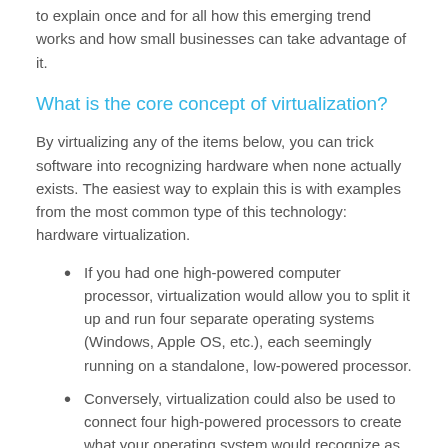to explain once and for all how this emerging trend works and how small businesses can take advantage of it.
What is the core concept of virtualization?
By virtualizing any of the items below, you can trick software into recognizing hardware when none actually exists. The easiest way to explain this is with examples from the most common type of this technology: hardware virtualization.
If you had one high-powered computer processor, virtualization would allow you to split it up and run four separate operating systems (Windows, Apple OS, etc.), each seemingly running on a standalone, low-powered processor.
Conversely, virtualization could also be used to connect four high-powered processors to create what your operating system would recognize as one ultra-fast piece of hardware.
This technology can be applied in a number of ways to